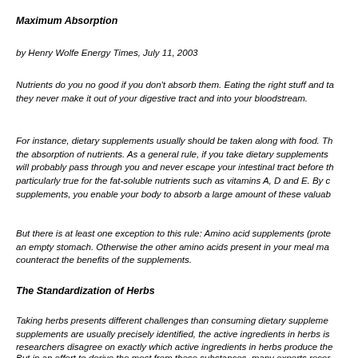Maximum Absorption
by Henry Wolfe Energy Times, July 11, 2003
Nutrients do you no good if you don't absorb them. Eating the right stuff and taking the right supplements doesn't do you much good if they never make it out of your digestive tract and into your bloodstream.
For instance, dietary supplements usually should be taken along with food. The reason is that food, especially fat, stimulates the absorption of nutrients. As a general rule, if you take dietary supplements on an empty stomach, many of the nutrients will probably pass through you and never escape your intestinal tract before they are excreted. This is particularly true for the fat-soluble nutrients such as vitamins A, D and E. By consuming fat when you take these supplements, you enable your body to absorb a large amount of these valuable substances.
But there is at least one exception to this rule: Amino acid supplements (protein supplements) should be taken on an empty stomach. Otherwise the other amino acids present in your meal may compete with those supplements and counteract the benefits of the supplements.
The Standardization of Herbs
Taking herbs presents different challenges than consuming dietary supplements. While the active ingredients in dietary supplements are usually precisely identified, the active ingredients in herbs is a more complicated matter. Many researchers disagree on exactly which active ingredients in herbs produce the therapeutic effect.
But in an effort to derive the most from these substances, many experts recor